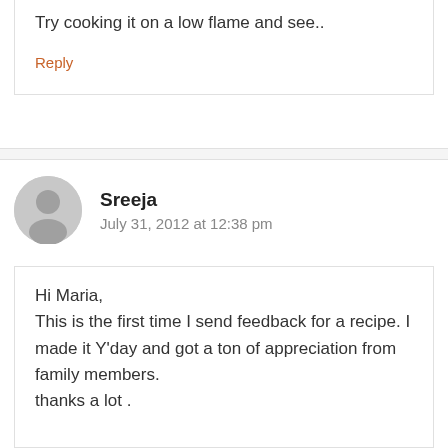Try cooking it on a low flame and see..
Reply
Sreeja
July 31, 2012 at 12:38 pm
Hi Maria,
This is the first time I send feedback for a recipe. I made it Y'day and got a ton of appreciation from family members.
thanks a lot .